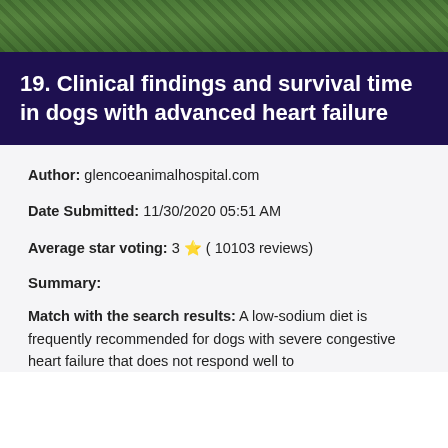[Figure (photo): Partial photo strip showing grass/outdoor scene, cropped at top of page]
19. Clinical findings and survival time in dogs with advanced heart failure
Author: glencoeanimalhospital.com
Date Submitted: 11/30/2020 05:51 AM
Average star voting: 3 ⭐ ( 10103 reviews)
Summary:
Match with the search results: A low-sodium diet is frequently recommended for dogs with severe congestive heart failure that does not respond well to